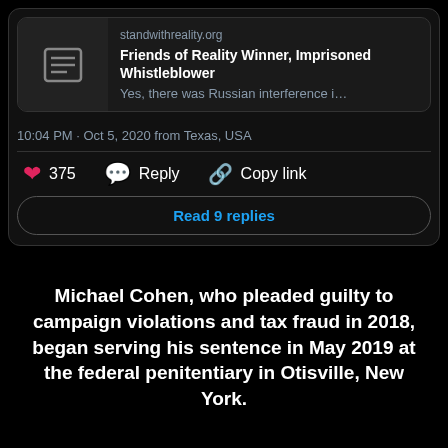[Figure (screenshot): Twitter/X tweet card showing a link preview for standwithreality.org - Friends of Reality Winner, Imprisoned Whistleblower. Timestamp: 10:04 PM · Oct 5, 2020 from Texas, USA. 375 likes, Reply and Copy link buttons, Read 9 replies button.]
Michael Cohen, who pleaded guilty to campaign violations and tax fraud in 2018, began serving his sentence in May 2019 at the federal penitentiary in Otisville, New York.
He has been under house arrest since July over coronavirus concerns.
Military reported that Reality became the target Ti...